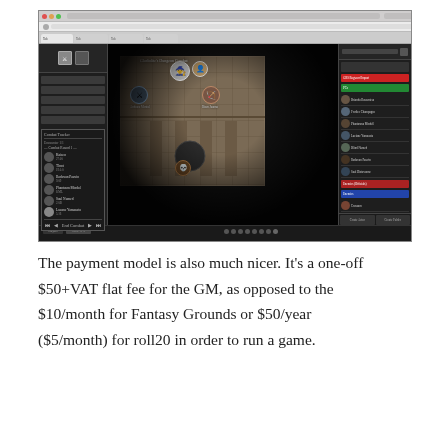[Figure (screenshot): Screenshot of a virtual tabletop (VTT) application in a browser window, showing a dungeon map with character tokens, combat tracker panel on the left, and character/NPC list panel on the right. The interface appears to be Fantasy Grounds or similar VTT software.]
The payment model is also much nicer. It's a one-off $50+VAT flat fee for the GM, as opposed to the $10/month for Fantasy Grounds or $50/year ($5/month) for roll20 in order to run a game.